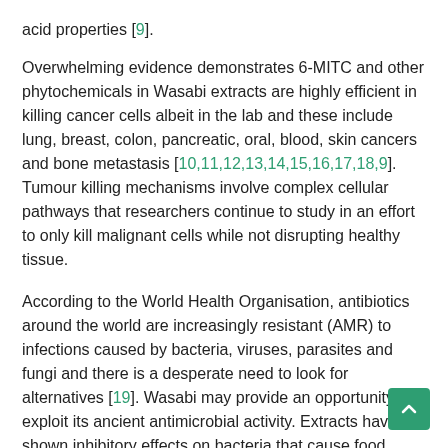acid properties [9].
Overwhelming evidence demonstrates 6-MITC and other phytochemicals in Wasabi extracts are highly efficient in killing cancer cells albeit in the lab and these include lung, breast, colon, pancreatic, oral, blood, skin cancers and bone metastasis [10,11,12,13,14,15,16,17,18,9]. Tumour killing mechanisms involve complex cellular pathways that researchers continue to study in an effort to only kill malignant cells while not disrupting healthy tissue.
According to the World Health Organisation, antibiotics around the world are increasingly resistant (AMR) to infections caused by bacteria, viruses, parasites and fungi and there is a desperate need to look for alternatives [19]. Wasabi may provide an opportunity to exploit its ancient antimicrobial activity. Extracts have shown inhibitory effects on bacteria that cause food poisoning (E Coli, Vibrio), respiratory disease (S Aureus), dental caries ( S Mutans), duodenal ulcers (H Pylori), as well as preventing yeasts, fungi and